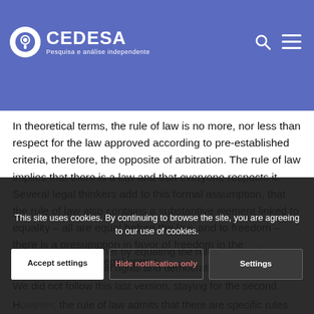CEDESA — Pesquisa e análise independente
In theoretical terms, the rule of law is no more, nor less than respect for the law approved according to pre-established criteria, therefore, the opposite of arbitration. The rule of law implies that there is a law and that everyone respects it. Several legal thinkers add to this formal assumption, that the rule of law also contains a substantive element linked to equality – all are equal before the law, and to freedom – there is a presumption in favor of freedom in the implementation of legal norms.
Others go even further by equating the rule of law with a range of fundamental rights and democratic principles[c].
We did not follow this last version, staying for the second. However, the rule of law admits that there are specific rules for
This site uses cookies. By continuing to browse the site, you are agreeing to our use of cookies.